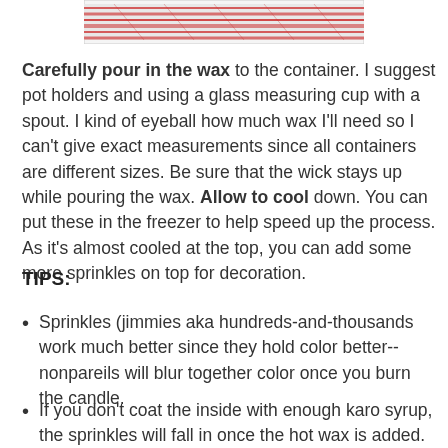[Figure (photo): A photograph showing red and white striped fabric or a checkered cloth, partially visible at the top of the page.]
Carefully pour in the wax to the container. I suggest pot holders and using a glass measuring cup with a spout. I kind of eyeball how much wax I'll need so I can't give exact measurements since all containers are different sizes. Be sure that the wick stays up while pouring the wax. Allow to cool down. You can put these in the freezer to help speed up the process. As it's almost cooled at the top, you can add some more sprinkles on top for decoration.
TIPS:
Sprinkles (jimmies aka hundreds-and-thousands work much better since they hold color better-- nonpareils will blur together color once you burn the candle.
If you don't coat the inside with enough karo syrup, the sprinkles will fall in once the hot wax is added.